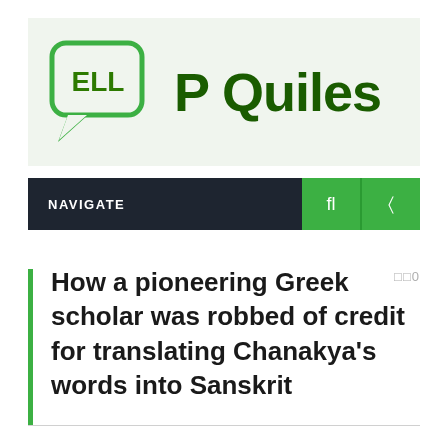[Figure (logo): ELL P Quiles website logo: speech bubble icon with 'ELL' text in green, followed by 'P Quiles' in dark green bold text, on a light green background]
NAVIGATE
How a pioneering Greek scholar was robbed of credit for translating Chanakya’s words into Sanskrit